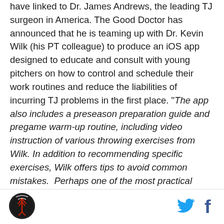have linked to Dr. James Andrews, the leading TJ surgeon in America. The Good Doctor has announced that he is teaming up with Dr. Kevin Wilk (his PT colleague) to produce an iOS app designed to educate and consult with young pitchers on how to control and schedule their work routines and reduce the liabilities of incurring TJ problems in the first place. "The app also includes a preseason preparation guide and pregame warm-up routine, including video instruction of various throwing exercises from Wilk. In addition to recommending specific exercises, Wilk offers tips to avoid common mistakes.  Perhaps one of the most practical sections of the app is the pitch counter and rest calculator. The pitch counter can
[Figure (logo): Circular logo with dark background, antenna/broadcast tower icon in red and white]
[Figure (logo): Twitter bird icon in cyan/blue]
[Figure (logo): Facebook 'f' icon in dark blue]